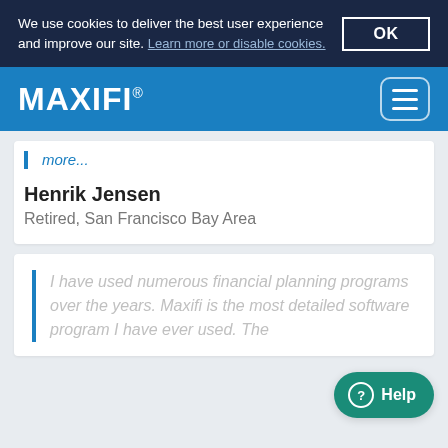We use cookies to deliver the best user experience and improve our site. Learn more or disable cookies.
MAXIFI®
more...
Henrik Jensen
Retired, San Francisco Bay Area
I have used numerous financial planning programs over the years. Maxifi is the most detailed software program I have ever used. The